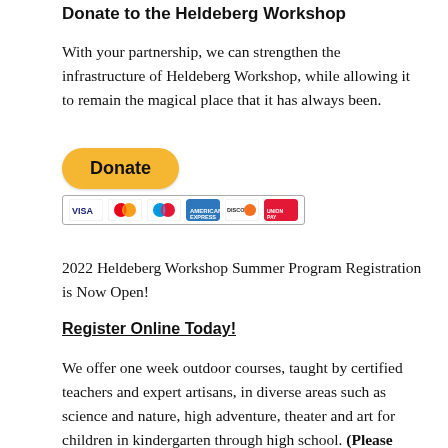Donate to the Heldeberg Workshop
With your partnership, we can strengthen the infrastructure of Heldeberg Workshop, while allowing it to remain the magical place that it has always been.
[Figure (other): PayPal Donate button with payment card icons (Visa, Mastercard, Maestro, American Express, Discover, UnionPay)]
2022 Heldeberg Workshop Summer Program Registration is Now Open!
Register Online Today!
We offer one week outdoor courses, taught by certified teachers and expert artisans, in diverse areas such as science and nature, high adventure, theater and art for children in kindergarten through high school. (Please note: We will not be offering busing in 2022)